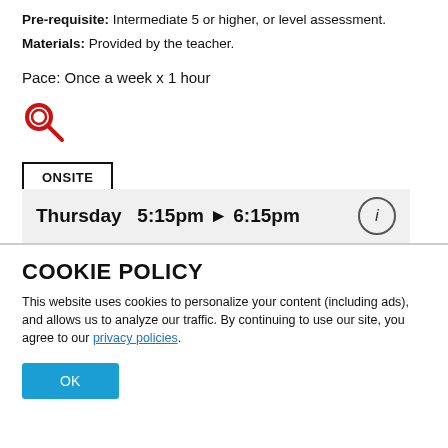Pre-requisite: Intermediate 5 or higher, or level assessment. Materials: Provided by the teacher.
Pace: Once a week x 1 hour
[Figure (illustration): Red magnifying glass search icon]
ONSITE
Thursday  5:15pm ▶ 6:15pm
COOKIE POLICY
This website uses cookies to personalize your content (including ads), and allows us to analyze our traffic. By continuing to use our site, you agree to our privacy policies.
OK